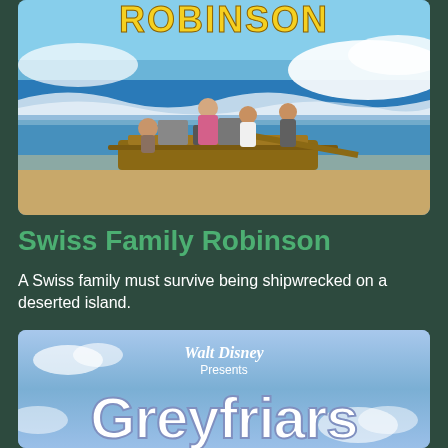[Figure (photo): Movie poster for Swiss Family Robinson showing a family on a raft near a beach with ocean waves, with the title 'ROBINSON' visible at the top in yellow letters]
Swiss Family Robinson
A Swiss family must survive being shipwrecked on a deserted island.
[Figure (photo): Movie poster for Walt Disney Presents Greyfriars, showing blue sky with clouds and white text reading 'Walt Disney Presents' in script at top and 'Greyfriars' in large white letters]